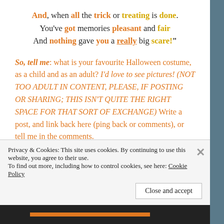And, when all the trick or treating is done.
You've got memories pleasant and fair
And nothing gave you a really big scare!"
So, tell me: what is your favourite Halloween costume, as a child and as an adult? I'd love to see pictures! (NOT TOO ADULT IN CONTENT, PLEASE, IF POSTING OR SHARING; THIS ISN'T QUITE THE RIGHT SPACE FOR THAT SORT OF EXCHANGE) Write a post, and link back here (ping back or comments), or tell me in the comments.
My neighbourhood goes all out for this "celebration." I'll be posting pictures as the
Privacy & Cookies: This site uses cookies. By continuing to use this website, you agree to their use.
To find out more, including how to control cookies, see here: Cookie Policy